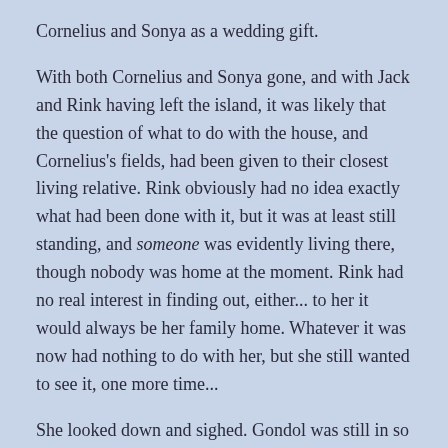Cornelius and Sonya as a wedding gift.
With both Cornelius and Sonya gone, and with Jack and Rink having left the island, it was likely that the question of what to do with the house, and Cornelius's fields, had been given to their closest living relative. Rink obviously had no idea exactly what had been done with it, but it was at least still standing, and someone was evidently living there, though nobody was home at the moment. Rink had no real interest in finding out, either... to her it would always be her family home. Whatever it was now had nothing to do with her, but she still wanted to see it, one more time...
She looked down and sighed. Gondol was still in so many ways the same as when she had left it... but it still felt unfamiliar. In the years she had been gone, the one thing from Gondol that had changed by far the most was none other than herself. Even if the people of Gondol she had encountered so far that had recognized her had accepted her without any comment, it was only the opinion of one person she could care about. The only thing going on in her head was the question of what Aniara would think of her.